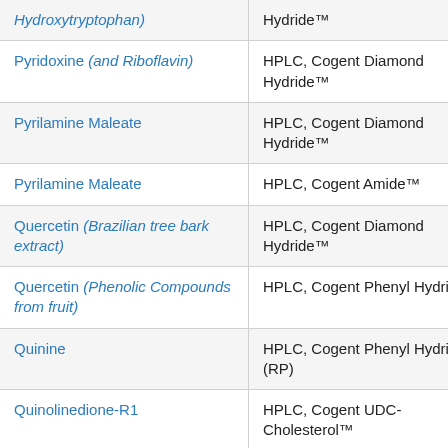| Compound | Method |
| --- | --- |
| Hydroxytryptophan) | Hydride™ |
| Pyridoxine (and Riboflavin) | HPLC, Cogent Diamond Hydride™ |
| Pyrilamine Maleate | HPLC, Cogent Diamond Hydride™ |
| Pyrilamine Maleate | HPLC, Cogent Amide™ |
| Quercetin (Brazilian tree bark extract) | HPLC, Cogent Diamond Hydride™ |
| Quercetin (Phenolic Compounds from fruit) | HPLC, Cogent Phenyl Hydride™ |
| Quinine | HPLC, Cogent Phenyl Hydride™ (RP) |
| Quinolinedione-R1 | HPLC, Cogent UDC-Cholesterol™ |
| Quinolinedione-R2 | HPLC, Cogent UDC- |